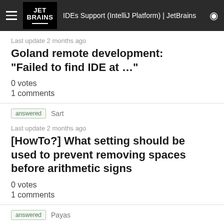IDEs Support (IntelliJ Platform) | JetBrains
Last update 2 months ago
Goland remote development: "Failed to find IDE at ..."
0 votes
1 comments
answered  Sart
Last update 2 months ago
[HowTo?] What setting should be used to prevent removing spaces before arithmetic signs
0 votes
1 comments
answered  Payas
Last update 2 months ago